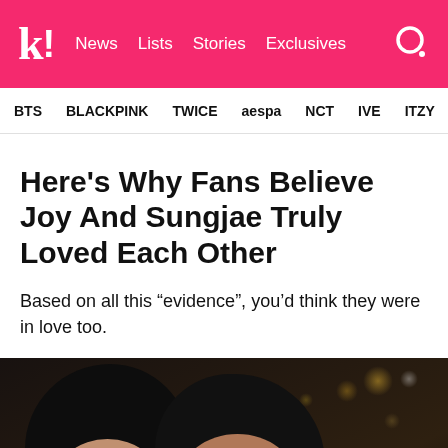k! News Lists Stories Exclusives
BTS BLACKPINK TWICE aespa NCT IVE ITZY
Here's Why Fans Believe Joy And Sungjae Truly Loved Each Other
Based on all this “evidence”, you’d think they were in love too.
[Figure (photo): Photo of two people with dark hair in a close romantic pose against a bokeh nighttime background]